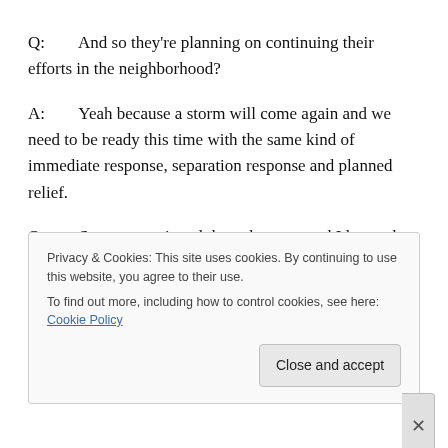Q:        And so they're planning on continuing their efforts in the neighborhood?
A:        Yeah because a storm will come again and we need to be ready this time with the same kind of immediate response, separation response and planned relief.
Q:        So you mentioned the volunteers and I know that
Privacy & Cookies: This site uses cookies. By continuing to use this website, you agree to their use.
To find out more, including how to control cookies, see here: Cookie Policy
Close and accept